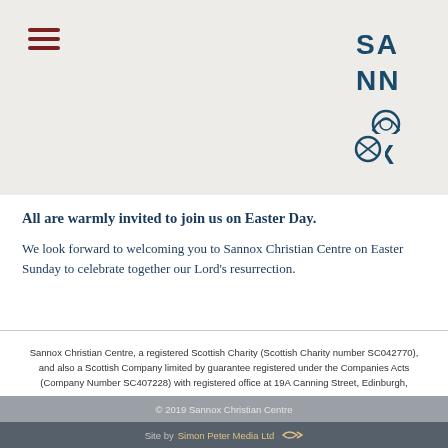[Figure (logo): Sannox Christian Centre logo with stylized letters SA NN OX and a trinity knot symbol, in dark blue/teal]
All are warmly invited to join us on Easter Day.
We look forward to welcoming you to Sannox Christian Centre on Easter Sunday to celebrate together our Lord's resurrection.
Sannox Christian Centre, a registered Scottish Charity (Scottish Charity number SC042770), and also a Scottish Company limited by guarantee registered under the Companies Acts (Company Number SC407228) with registered office at 19A Canning Street, Edinburgh, EH3 8HE
Some images licensed under Creative Commons
Privacy Policy
© 2019 Sannox Christian Centre
Site by Simon Peter Media Ltd